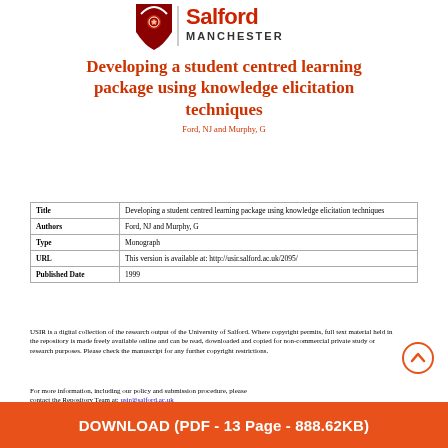[Figure (logo): University of Salford Manchester logo with crest and wordmark]
Developing a student centred learning package using knowledge elicitation techniques
Ford, NJ and Murphy, G
| Title | Developing a student centred learning package using knowledge elicitation techniques |
| Authors | Ford, NJ and Murphy, G |
| Type | Monograph |
| URL | This version is available at: http://usir.salford.ac.uk/2095/ |
| Published Date | 1999 |
USIR is a digital collection of the research output of the University of Salford. Where copyright permits, full text material held in the repository is made freely available online and can be read, downloaded and copied for non-commercial private study or research purposes. Please check the manuscript for any further copyright restrictions.
For more information, including our policy and submission procedure, please contact the Repository Team at: usir@salford.ac.uk
DOWNLOAD (PDF - 13 Page - 888.62KB)